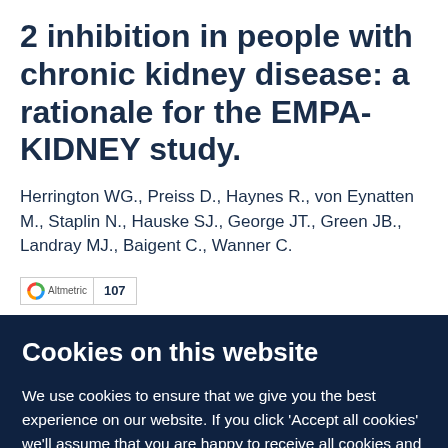2 inhibition in people with chronic kidney disease: a rationale for the EMPA-KIDNEY study.
Herrington WG., Preiss D., Haynes R., von Eynatten M., Staplin N., Hauske SJ., George JT., Green JB., Landray MJ., Baigent C., Wanner C.
[Figure (other): Altmetric badge showing score of 107]
Cookies on this website
We use cookies to ensure that we give you the best experience on our website. If you click 'Accept all cookies' we'll assume that you are happy to receive all cookies and you won't see this message again. If you click 'Reject all non-essential cookies' only necessary cookies providing core functionality such as security, network management,